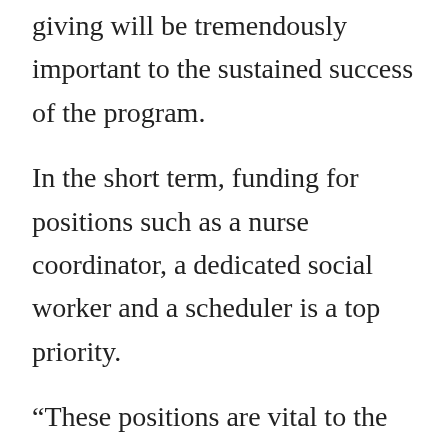giving will be tremendously important to the sustained success of the program.
In the short term, funding for positions such as a nurse coordinator, a dedicated social worker and a scheduler is a top priority.
“These positions are vital to the care coordination necessary for this complex population,” Alexander said. “It’s a truly multi-disciplinary collaboration that opens up the services to everyone in our system. We want to treat the whole person and do what we can to